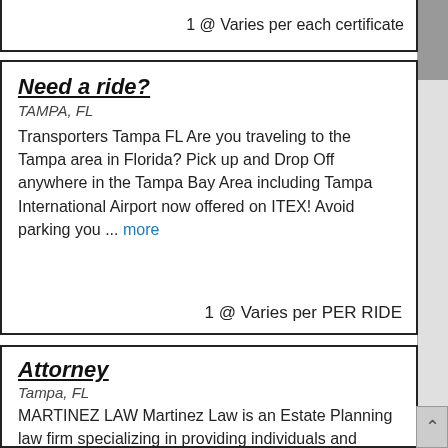1 @ Varies per each certificate
Need a ride?
TAMPA, FL
Transporters Tampa FL Are you traveling to the Tampa area in Florida? Pick up and Drop Off anywhere in the Tampa Bay Area including Tampa International Airport now offered on ITEX! Avoid parking you ... more
1 @ Varies per PER RIDE
Attorney
Tampa, FL
MARTINEZ LAW Martinez Law is an Estate Planning law firm specializing in providing individuals and families with comprehensive estate planning services. We spend a considerable amount of time and ene... more